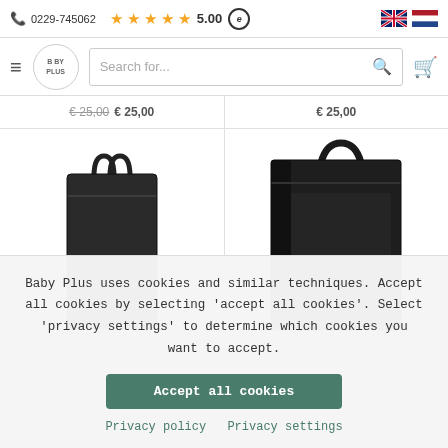📞 0229-745062  ★★★★★ 5.00  🇬🇧 🇳🇱
[Figure (screenshot): Baby Plus website navigation bar with hamburger menu, logo, search box, and cart icon]
[Figure (photo): Two black travel/stroller bags shown side by side in product grid with prices]
Baby Plus uses cookies and similar techniques. Accept all cookies by selecting 'accept all cookies'. Select 'privacy settings' to determine which cookies you want to accept.
Accept all cookies
Privacy policy  Privacy settings